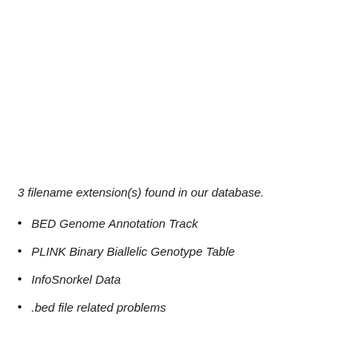3 filename extension(s) found in our database.
BED Genome Annotation Track
PLINK Binary Biallelic Genotype Table
InfoSnorkel Data
.bed file related problems